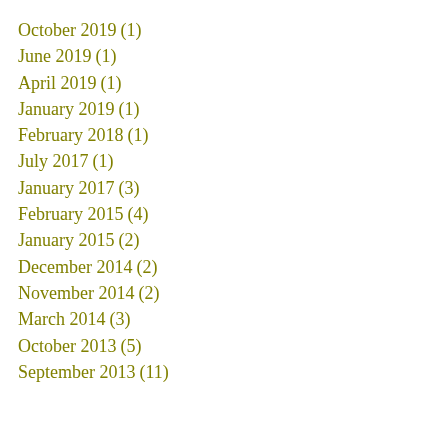October 2019 (1)
June 2019 (1)
April 2019 (1)
January 2019 (1)
February 2018 (1)
July 2017 (1)
January 2017 (3)
February 2015 (4)
January 2015 (2)
December 2014 (2)
November 2014 (2)
March 2014 (3)
October 2013 (5)
September 2013 (11)